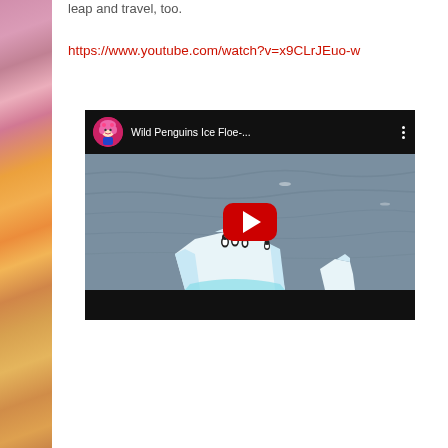leap and travel, too.
https://www.youtube.com/watch?v=x9CLrJEuo-w
[Figure (screenshot): YouTube video embed showing 'Wild Penguins Ice Floe-...' with a penguin avatar thumbnail, ocean and iceberg scene with penguins, and a red play button in the center.]